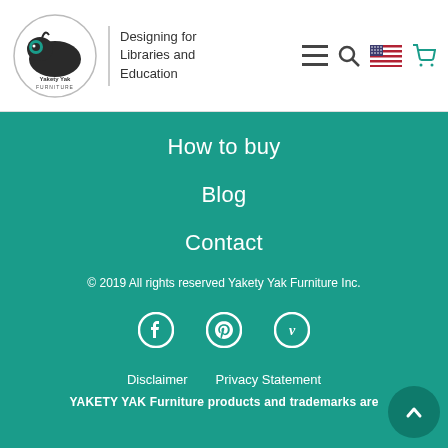Yakety Yak Furniture — Designing for Libraries and Education
How to buy
Blog
Contact
© 2019 All rights reserved Yakety Yak Furniture Inc.
[Figure (infographic): Social media icons: Facebook, Pinterest, Vimeo]
Disclaimer    Privacy Statement
YAKETY YAK Furniture products and trademarks are